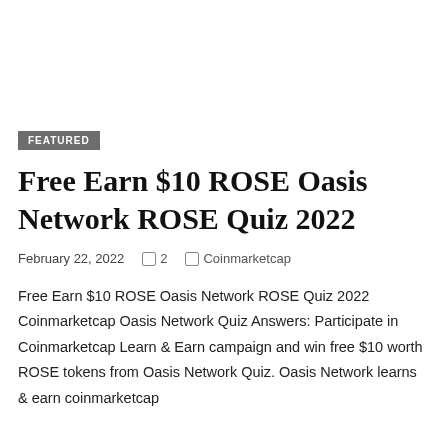FEATURED
Free Earn $10 ROSE Oasis Network ROSE Quiz 2022
February 22, 2022  ❐ 2  ❐ Coinmarketcap
Free Earn $10 ROSE Oasis Network ROSE Quiz 2022 Coinmarketcap Oasis Network Quiz Answers: Participate in Coinmarketcap Learn & Earn campaign and win free $10 worth ROSE tokens from Oasis Network Quiz. Oasis Network learns & earn coinmarketcap